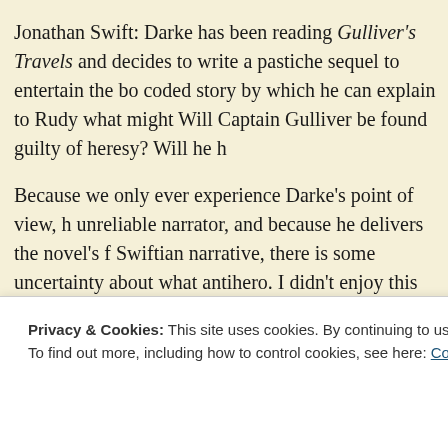Jonathan Swift: Darke has been reading Gulliver's Travels and decides to write a pastiche sequel to entertain the bo- coded story by which he can explain to Rudy what might Will Captain Gulliver be found guilty of heresy? Will he h
Because we only ever experience Darke's point of view, h- unreliable narrator, and because he delivers the novel's f- Swiftian narrative, there is some uncertainty about what antihero. I didn't enjoy this quite as much as the first bo- striking and witty character study. I especially appreciate gentle note of controversy without allowing it to overtak-
Privacy & Cookies: This site uses cookies. By continuing to use this website, you agree to their use.
To find out more, including how to control cookies, see here: Cookie Policy